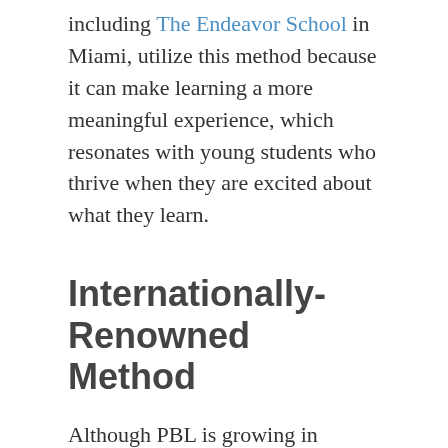including The Endeavor School in Miami, utilize this method because it can make learning a more meaningful experience, which resonates with young students who thrive when they are excited about what they learn.
Internationally-Renowned Method
Although PBL is growing in popularity in the United States, it is considered commonplace in many countries, including Finland, which regularly tops education rankings. In 2016, the Finnish government decided that PBL was so effective it implemented the educational approach into the national curriculum. At least once per year, students participate in a long-term